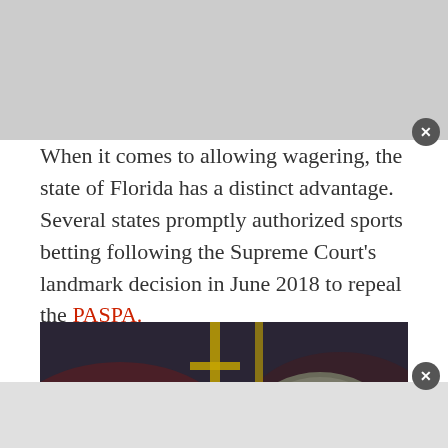When it comes to allowing wagering, the state of Florida has a distinct advantage. Several states promptly authorized sports betting following the Supreme Court's landmark decision in June 2018 to repeal the PASPA.
[Figure (photo): Two Tampa Bay Buccaneers football players in gray/pewter helmets with red skull-and-crossbones logo, one giving a thumbs up, viewed from behind/side angle in a stadium setting]